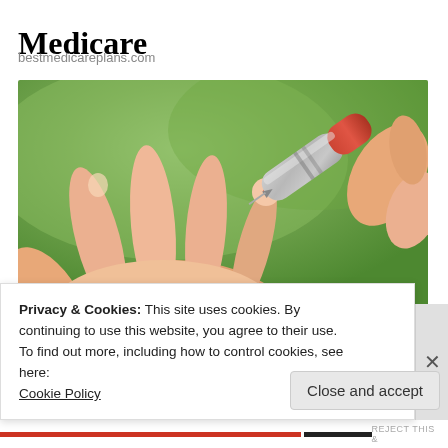Medicare
bestmedicareplans.com
[Figure (photo): Close-up photo of a person using a lancet device to prick a finger for blood glucose testing, outdoors with green background]
Privacy & Cookies: This site uses cookies. By continuing to use this website, you agree to their use.
To find out more, including how to control cookies, see here:
Cookie Policy
Close and accept